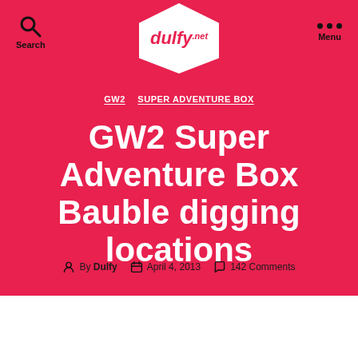dulfy.net – Search | Menu
GW2  SUPER ADVENTURE BOX
GW2 Super Adventure Box Bauble digging locations
By Dulfy  April 4, 2013  142 Comments